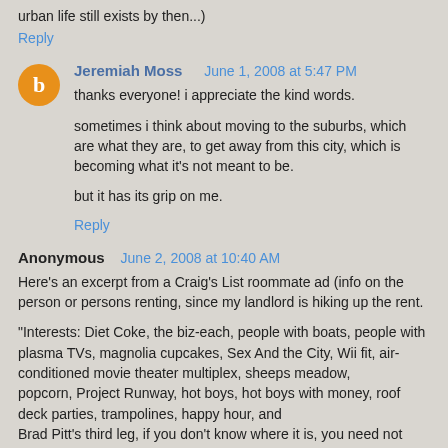urban life still exists by then...)
Reply
Jeremiah Moss   June 1, 2008 at 5:47 PM
thanks everyone! i appreciate the kind words.
sometimes i think about moving to the suburbs, which are what they are, to get away from this city, which is becoming what it's not meant to be.
but it has its grip on me.
Reply
Anonymous   June 2, 2008 at 10:40 AM
Here's an excerpt from a Craig's List roommate ad (info on the person or persons renting, since my landlord is hiking up the rent.
"Interests: Diet Coke, the biz-each, people with boats, people with
plasma TVs, magnolia cupcakes, Sex And the City, Wii fit, air-conditioned movie theater multiplex, sheeps meadow, popcorn, Project Runway, hot boys, hot boys with money, roof deck parties, trampolines, happy hour, and
Brad Pitt's third leg, if you don't know where it is, you need not